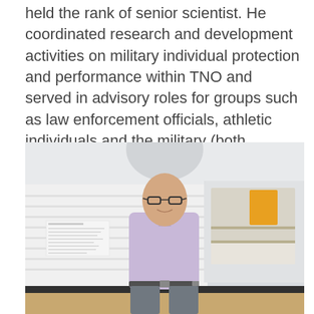held the rank of senior scientist. He coordinated research and development activities on military individual protection and performance within TNO and served in advisory roles for groups such as law enforcement officials, athletic individuals and the military (both national and international).
[Figure (photo): A bald man wearing glasses and a light purple/lavender shirt stands in front of a white exhibition panel in a modern office or exhibition space. He is smiling slightly, with hands in his pockets. The background shows white walls, wooden shelving, and orange accents.]